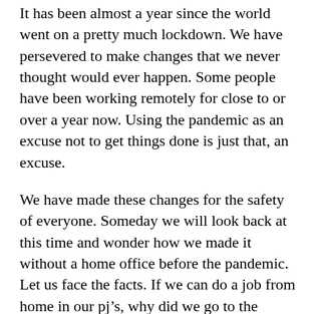It has been almost a year since the world went on a pretty much lockdown. We have persevered to make changes that we never thought would ever happen. Some people have been working remotely for close to or over a year now. Using the pandemic as an excuse not to get things done is just that, an excuse.
We have made these changes for the safety of everyone. Someday we will look back at this time and wonder how we made it without a home office before the pandemic. Let us face the facts. If we can do a job from home in our pj’s, why did we go to the office before? Sure some people need that social interaction. It’s healthy to have social interactions. It has been